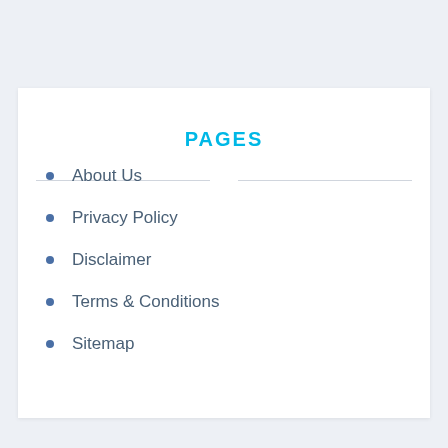PAGES
About Us
Privacy Policy
Disclaimer
Terms & Conditions
Sitemap